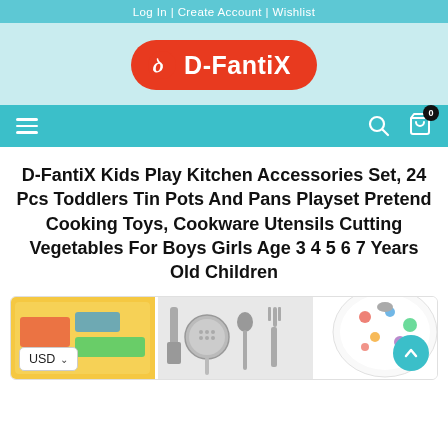Log In | Create Account | Wishlist
[Figure (logo): D-FantiX logo: red pill-shaped badge with white text and stylized icon]
[Figure (screenshot): Navigation bar with hamburger menu on left, search and cart icons on right, cart shows 0 items]
D-FantiX Kids Play Kitchen Accessories Set, 24 Pcs Toddlers Tin Pots And Pans Playset Pretend Cooking Toys, Cookware Utensils Cutting Vegetables For Boys Girls Age 3 4 5 6 7 Years Old Children
[Figure (photo): Product image showing colorful play kitchen set with pots, pans, utensils, and cutting vegetables. USD currency selector badge visible bottom left, scroll-to-top button bottom right.]